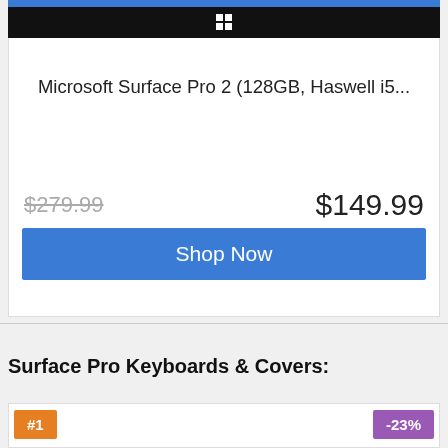[Figure (screenshot): Partial view of a tablet device (Microsoft Surface) showing top bar and Windows logo on dark background]
Microsoft Surface Pro 2 (128GB, Haswell i5...
$279.99  $149.99
Shop Now
Surface Pro Keyboards & Covers:
#1
-23%